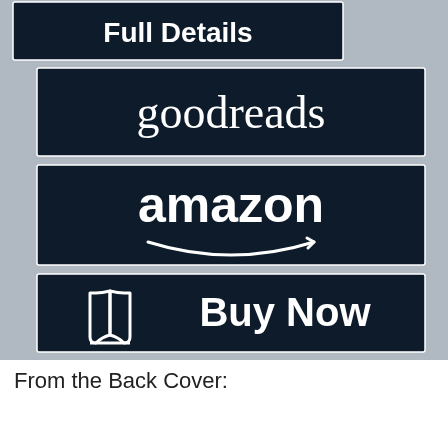[Figure (screenshot): A gray background panel showing three dark navy/black rectangular buttons stacked vertically: 'Full Details' (partially visible at top), 'goodreads' logo button, 'amazon' logo button with smile arrow, and a 'Buy Now' button with open book icon.]
From the Back Cover: